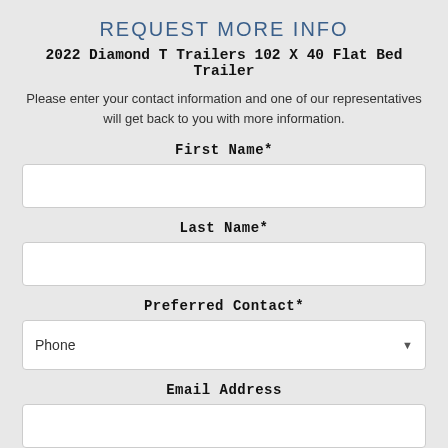REQUEST MORE INFO
2022 Diamond T Trailers 102 X 40 Flat Bed Trailer
Please enter your contact information and one of our representatives will get back to you with more information.
First Name*
Last Name*
Preferred Contact*
Email Address
Phone Number*
Zip Code